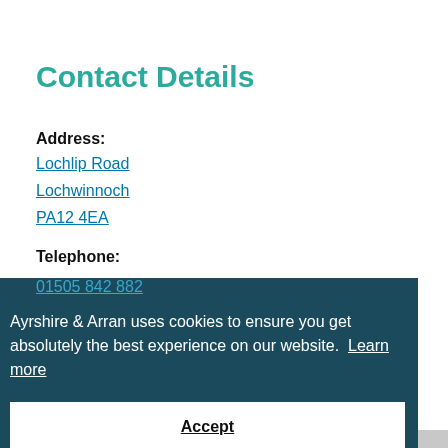Contact Details
Address:
Lochlip Road
Lochwinnoch
PA12 4EA
Telephone:
01505 842 882
Ayrshire & Arran uses cookies to ensure you get absolutely the best experience on our website. Learn more
Accept
More like Clyde Muirshiel Regional Park